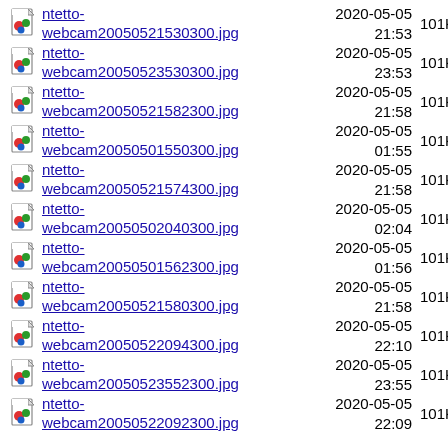ntetto-webcam20050521530300.jpg 2020-05-05 21:53 101K
ntetto-webcam20050523530300.jpg 2020-05-05 23:53 101K
ntetto-webcam20050521582300.jpg 2020-05-05 21:58 101K
ntetto-webcam20050501550300.jpg 2020-05-05 01:55 101K
ntetto-webcam20050521574300.jpg 2020-05-05 21:58 101K
ntetto-webcam20050502040300.jpg 2020-05-05 02:04 101K
ntetto-webcam20050501562300.jpg 2020-05-05 01:56 101K
ntetto-webcam20050521580300.jpg 2020-05-05 21:58 101K
ntetto-webcam20050522094300.jpg 2020-05-05 22:10 101K
ntetto-webcam20050523552300.jpg 2020-05-05 23:55 101K
ntetto-webcam20050522092300.jpg 2020-05-05 22:09 101K